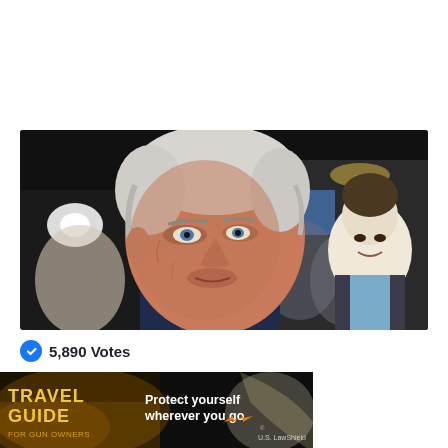[Figure (photo): Close-up photo of an older man with white hair in a dark shirt, speaking or talking, with a young man smiling in the background and a crowd in a large indoor venue. Camera flashes visible on the left.]
5,890 Votes
[Figure (photo): Advertisement banner for 'Travel Guide For Gun Owners' featuring text 'Protect yourself wherever you go.' with U.S. LawShield branding and orange arrow graphics.]